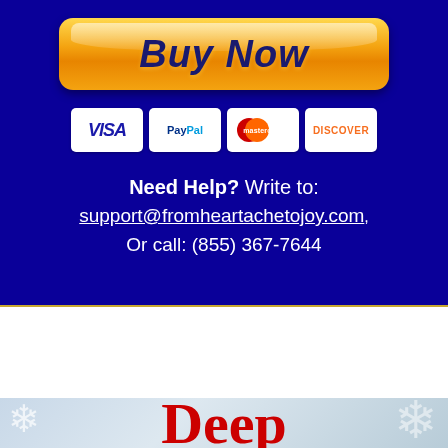[Figure (other): Orange gradient Buy Now button with italic bold dark blue text on a dark navy blue background]
[Figure (other): Payment method icons: VISA, PayPal, Mastercard, Discover on white rounded rectangles]
Need Help? Write to: support@fromheartachetojoy.com, Or call: (855) 367-7644
[Figure (other): White blank section below dark blue panel]
[Figure (other): Light blue-grey snowy background with large red text 'Deep' and snowflake decorations]